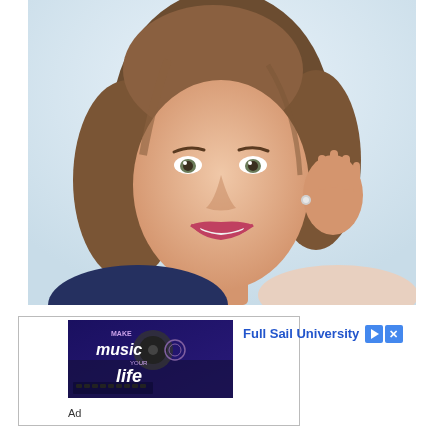[Figure (photo): Portrait photograph of a smiling middle-aged woman with shoulder-length brown hair, touching her ear with her right hand, wearing a small earring, against a light background.]
[Figure (screenshot): Advertisement image for Full Sail University with text 'Make Music Your Life' over a dark blue/purple background with music studio imagery.]
Full Sail University
Ad